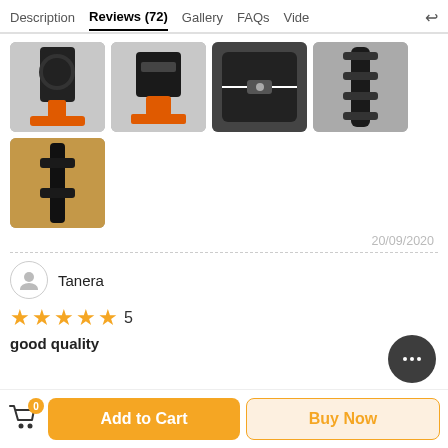Description  Reviews (72)  Gallery  FAQs  Vide
[Figure (photo): Four thumbnail photos of a tripod product: ball head with orange accent, quick-release plate close-up, carrying bag with zippers, collapsed tripod legs on pavement]
[Figure (photo): One thumbnail photo of tripod legs/feet on a wooden surface]
20/09/2020
Tanera
★★★★★ 5
good quality